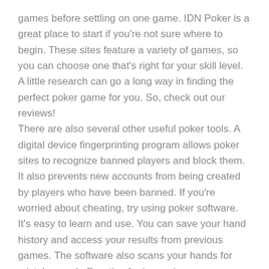games before settling on one game. IDN Poker is a great place to start if you're not sure where to begin. These sites feature a variety of games, so you can choose one that's right for your skill level. A little research can go a long way in finding the perfect poker game for you. So, check out our reviews!
There are also several other useful poker tools. A digital device fingerprinting program allows poker sites to recognize banned players and block them. It also prevents new accounts from being created by players who have been banned. If you're worried about cheating, try using poker software. It's easy to learn and use. You can save your hand history and access your results from previous games. The software also scans your hands for mistakes and offers tips for improving your game.
If you want to make a living playing online, you should split your bankroll with multiple players. It's much easier to win more money if you're playing with friends, as your losses will be spread across several lower-limit tables. In addition, it exposes you to lower-skill opponents. However, beware of the risks associated with this strategy. Always remember to have fun while playing poker! There